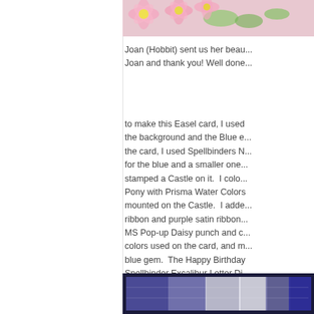[Figure (photo): Top photo showing pink flowers/daisies with green background, partially cropped]
Joan (Hobbit) sent us her beau... Joan and thank you! Well done...
to make this Easel card, I used the background and the Blue e... the card, I used Spellbinders N... for the blue and a smaller one... stamped a Castle on it.  I colo... Pony with Prisma Water Colors mounted on the Castle.  I adde... ribbon and purple satin ribbon... MS Pop-up Daisy punch and c... colors used on the card, and m... blue gem.  The Happy Birthday... Spellbinder Excalibur Letter Di...
[Figure (photo): Bottom photo showing a card with blue, purple and white elements]